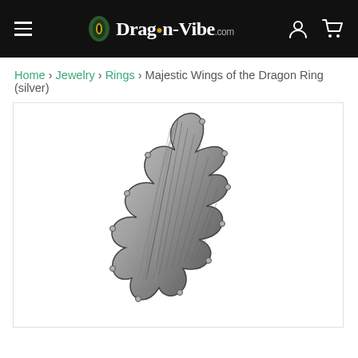Dragon-Vibe.com navigation bar with hamburger menu, logo, user icon and cart icon
Home › Jewelry › Rings › Majestic Wings of the Dragon Ring (silver)
[Figure (photo): Silver dragon wing ring shown vertically on white background, detailed metalwork with ridged wing-like fins and studded edges]